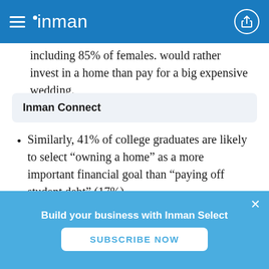inman
including 85% of females. would rather invest in a home than pay for a big expensive wedding.
Similarly, 41% of college graduates are likely to select “owning a home” as a more important financial goal than “paying off student debt” (17%).
Inman Connect
Build your business with Inman Select
SUBSCRIBE NOW